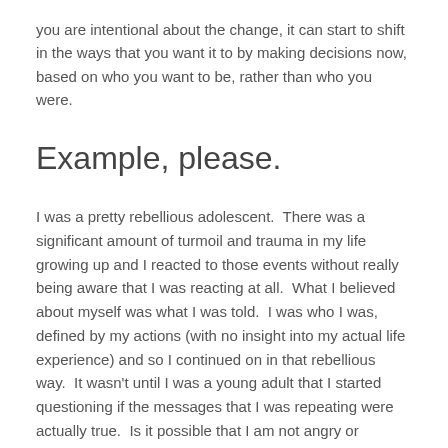you are intentional about the change, it can start to shift in the ways that you want it to by making decisions now, based on who you want to be, rather than who you were.
Example, please.
I was a pretty rebellious adolescent.  There was a significant amount of turmoil and trauma in my life growing up and I reacted to those events without really being aware that I was reacting at all.  What I believed about myself was what I was told.  I was who I was, defined by my actions (with no insight into my actual life experience) and so I continued on in that rebellious way.  It wasn't until I was a young adult that I started questioning if the messages that I was repeating were actually true.  Is it possible that I am not angry or impulsive or that looking a certain way was the only way I